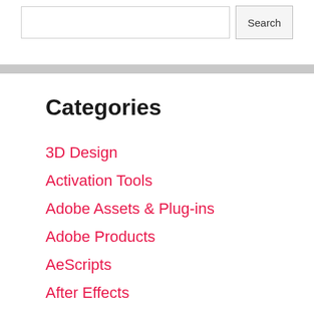Search
Categories
3D Design
Activation Tools
Adobe Assets & Plug-ins
Adobe Products
AeScripts
After Effects
Android
Audio & Music